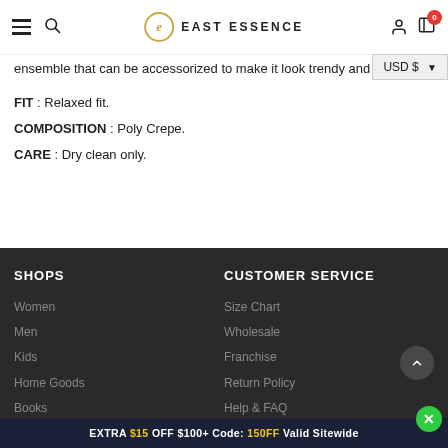East Essence — navigation header with hamburger, search, logo, user, cart (0), USD $ dropdown
ensemble that can be accessorized to make it look trendy and mo
FIT : Relaxed fit.
COMPOSITION : Poly Crepe.
CARE : Dry clean only.
SHOPS
Women
Men
Kids
Home Goods
Books
CUSTOMER SERVICE
Size Chart
Wholesale
Franchise
Return Policy
Help & FAQ
EXTRA $15 OFF $100+ Code: 150FF Valid Sitewide